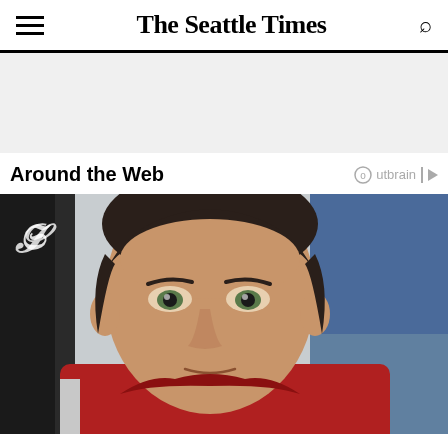The Seattle Times
[Figure (other): Gray advertisement banner placeholder area]
Around the Web
[Figure (photo): Close-up photo of a man in a red racing jacket with a newspaper watermark logo (ST) in the upper left corner of the image. The man has dark hair, green eyes, and is looking slightly downward. Background shows blue and white blurred elements suggesting a motorsport environment.]